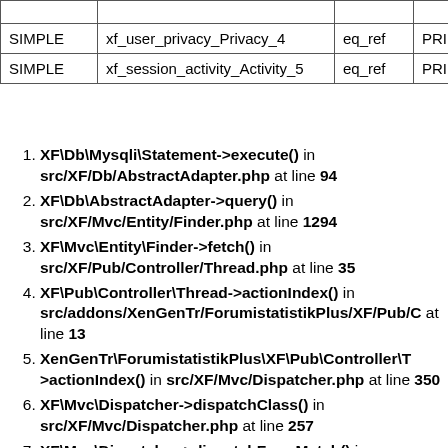|  |  |  |  |
| --- | --- | --- | --- |
|  |  |  |  |
| SIMPLE | xf_user_privacy_Privacy_4 | eq_ref | PRIMARY |
| SIMPLE | xf_session_activity_Activity_5 | eq_ref | PRIMARY |
XF\Db\Mysqli\Statement->execute() in src/XF/Db/AbstractAdapter.php at line 94
XF\Db\AbstractAdapter->query() in src/XF/Mvc/Entity/Finder.php at line 1294
XF\Mvc\Entity\Finder->fetch() in src/XF/Pub/Controller/Thread.php at line 35
XF\Pub\Controller\Thread->actionIndex() in src/addons/XenGenTr/ForumistatistikPlus/XF/Pub/C at line 13
XenGenTr\ForumistatistikPlus\XF\Pub\Controller\T->actionIndex() in src/XF/Mvc/Dispatcher.php at line 350
XF\Mvc\Dispatcher->dispatchClass() in src/XF/Mvc/Dispatcher.php at line 257
XF\Mvc\Dispatcher->dispatchFromMatch() in src/XF/Mvc/Dispatcher.php at line 113
XF\Mvc\Dispatcher->dispatchLoop() in src/XF/Mvc/Dispatcher.php at line 55
XF\Mvc\Dispatcher->run() in src/XF/App.php at